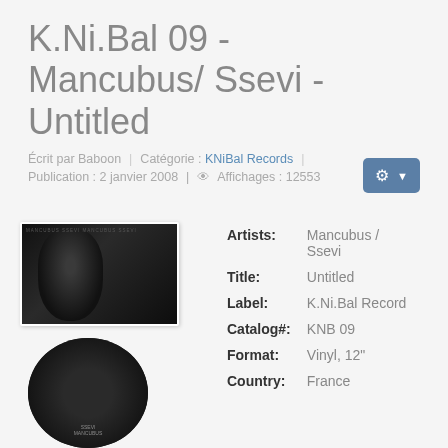K.Ni.Bal 09 - Mancubus/ Ssevi - Untitled
Écrit par Baboon | Catégorie : KNiBal Records | Publication : 2 janvier 2008 | Affichages : 12553
[Figure (photo): Two side-by-side vinyl record covers showing dark skull imagery with text MANCUBUS and SSEVI]
[Figure (photo): Circular vinyl record label showing SSEVI and MANCUBUS text on dark background]
| Artists: | Mancubus / Ssevi |
| Title: | Untitled |
| Label: | K.Ni.Bal Record |
| Catalog#: | KNB 09 |
| Format: | Vinyl, 12" |
| Country: | France |